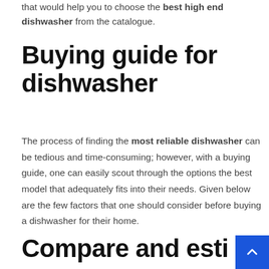that would help you to choose the best high end dishwasher from the catalogue.
Buying guide for dishwasher
The process of finding the most reliable dishwasher can be tedious and time-consuming; however, with a buying guide, one can easily scout through the options the best model that adequately fits into their needs. Given below are the few factors that one should consider before buying a dishwasher for their home.
Compare and estimate the price